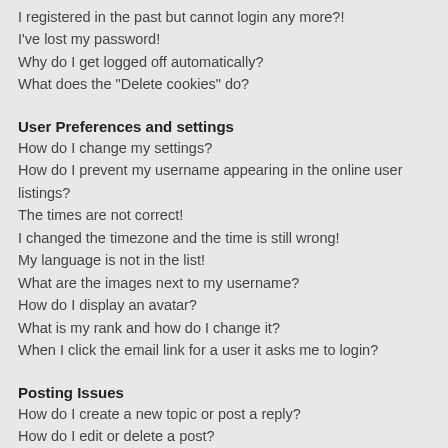I registered in the past but cannot login any more?!
I've lost my password!
Why do I get logged off automatically?
What does the "Delete cookies" do?
User Preferences and settings
How do I change my settings?
How do I prevent my username appearing in the online user listings?
The times are not correct!
I changed the timezone and the time is still wrong!
My language is not in the list!
What are the images next to my username?
How do I display an avatar?
What is my rank and how do I change it?
When I click the email link for a user it asks me to login?
Posting Issues
How do I create a new topic or post a reply?
How do I edit or delete a post?
How do I add a signature to my post?
How do I create a poll?
Why can't I add more poll options?
How do I edit or delete a poll?
Why can't I access a forum?
Why can't I add attachments?